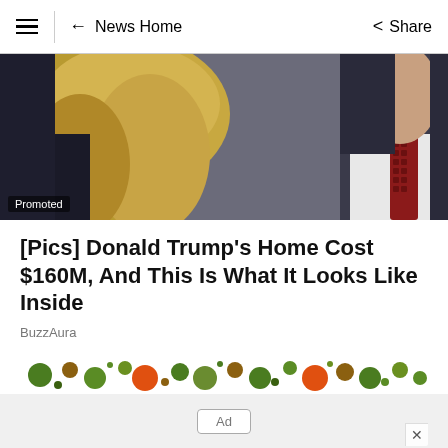≡ | ← News Home   Share
[Figure (photo): Close-up photo of a woman with long blonde hair in a dark outfit and a man in a white shirt with a red patterned tie. A 'Promoted' label appears in the bottom-left corner.]
[Pics] Donald Trump's Home Cost $160M, And This Is What It Looks Like Inside
BuzzAura
[Figure (illustration): Colorful advertisement banner with circles/dots pattern in green, orange, brown, and dark green on a white background, with a close (X) button at bottom right.]
Ad